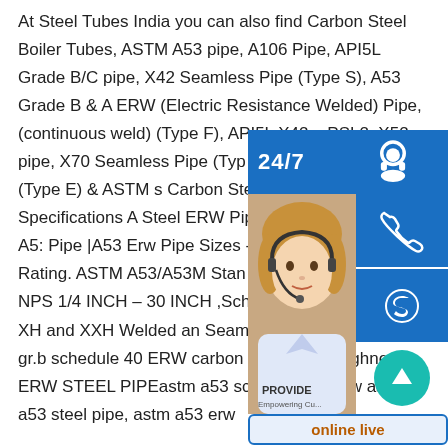At Steel Tubes India you can also find Carbon Steel Boiler Tubes, ASTM A53 pipe, A106 Pipe, API5L Grade B/C pipe, X42 Seamless Pipe (Type S), A53 Grade B & A ERW (Electric Resistance Welded) Pipe, (continuous weld) (Type F), API5L X42 p... PSL2, X52 pipe, X70 Seamless Pipe (Typ... X56, X60, API 5l X65 (Type E) & ASTM s... Carbon Steel ERW Pipe Specifications A... Steel ERW Pipe Specifications Astm A5:... Pipe |A53 Erw Pipe Sizes - Material A53... Pressure Rating. ASTM A53/A53M Stan... Specification for Pipe, NPS 1/4 INCH – 30 INCH ,Schedules 10 -160, STD, XH and XXH Welded and Seamless , sp.info astm a53 gr.b schedule 40 ERW carbon steel pipe roughness ERW STEEL PIPEastm a53 schedule 40, erw astm a53 steel pipe, astm a53 erw
[Figure (infographic): Customer service sidebar widget showing '24/7' label with headset icon, a customer service representative photo, phone icon button, Skype icon button, a 'PROVIDE / Empowering Customers' label, and an 'online live' button.]